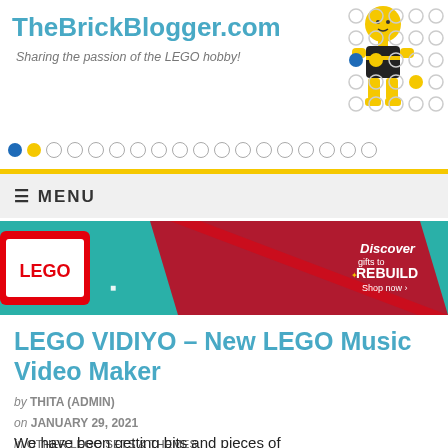TheBrickBlogger.com – Sharing the passion of the LEGO hobby!
[Figure (screenshot): LEGO advertisement banner: teal background with LEGO logo, minifigures, red diagonal stripe pattern, text 'Discover gifts to REBUILD – Shop now']
LEGO VIDIYO – New LEGO Music Video Maker
by THITA (ADMIN)
on JANUARY 29, 2021
in OTHER LEGO SETS & THEMES
We have been getting bits and pieces of